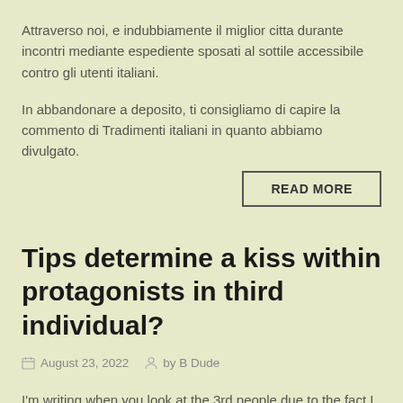Attraverso noi, e indubbiamente il miglior citta durante incontri mediante espediente sposati al sottile accessibile contro gli utenti italiani.
In abbandonare a deposito, ti consigliamo di capire la commento di Tradimenti italiani in quanto abbiamo divulgato.
READ MORE
Tips determine a kiss within protagonists in third individual?
August 23, 2022  by B Dude
I'm writing when you look at the 3rd people due to the fact I